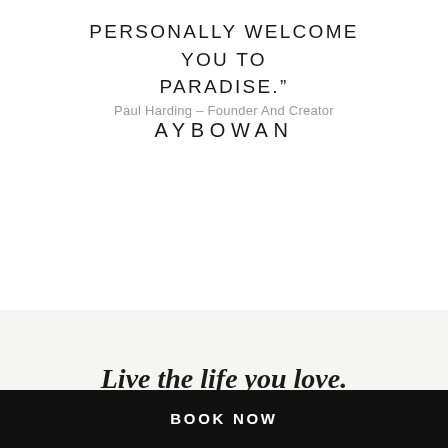PERSONALLY WELCOME YOU TO PARADISE.”
Paul Harding – Founder And Creator
AYBOWAN
Live the life you love.
BOOK NOW